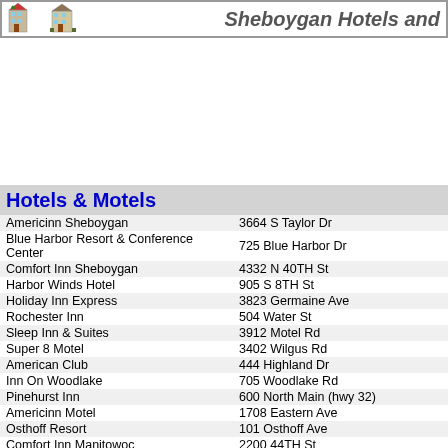Sheboygan Hotels and
Hotels & Motels
| Name | Address |
| --- | --- |
| Americinn Sheboygan | 3664 S Taylor Dr |
| Blue Harbor Resort & Conference Center | 725 Blue Harbor Dr |
| Comfort Inn Sheboygan | 4332 N 40TH St |
| Harbor Winds Hotel | 905 S 8TH St |
| Holiday Inn Express | 3823 Germaine Ave |
| Rochester Inn | 504 Water St |
| Sleep Inn & Suites | 3912 Motel Rd |
| Super 8 Motel | 3402 Wilgus Rd |
| American Club | 444 Highland Dr |
| Inn On Woodlake | 705 Woodlake Rd |
| Pinehurst Inn | 600 North Main (hwy 32) |
| Americinn Motel | 1708 Eastern Ave |
| Osthoff Resort | 101 Osthoff Ave |
| Comfort Inn Manitowoc | 2200 44TH St |
| Holiday Inn Manitowoc | 4601 Calumet Ave |
| Days Inn | 908 Washington St |
| Inn On Maritime Bay | 101 Maritime Dr |
| Country Inn & Suites By Carlson - Port Washington | 350 E Seven Hills Rd |
| Holiday Inn Harborview | 135 E Grand Ave |
| Super 8 Motel Saukville | 180 S Foster Rd |